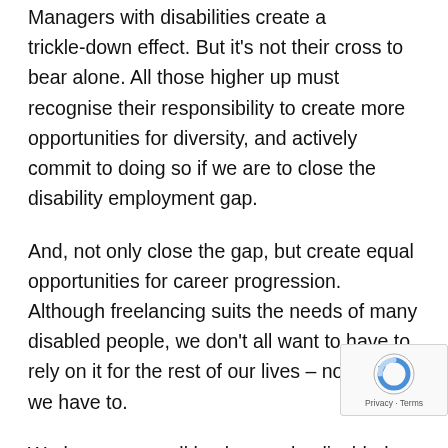Managers with disabilities create a trickle-down effect. But it's not their cross to bear alone. All those higher up must recognise their responsibility to create more opportunities for diversity, and actively commit to doing so if we are to close the disability employment gap.
And, not only close the gap, but create equal opportunities for career progression. Although freelancing suits the needs of many disabled people, we don't all want to have to rely on it for the rest of our lives – nor should we have to.
Workers across all backgrounds, disabled people included, should have opportunities to achieve meaningful work which meets their needs; as managers, as freelancers and as employees with full access to flexible working opt
Ultimately, it's about choice. And when we empower a truly